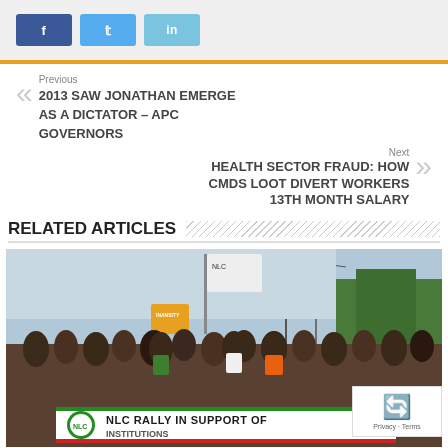[Figure (infographic): Social media share buttons: Facebook (blue), Twitter (light blue), LinkedIn (light blue)]
Previous
2013 SAW JONATHAN EMERGE AS A DICTATOR – APC GOVERNORS
Next
HEALTH SECTOR FRAUD: HOW CMDS LOOT DIVERT WORKERS 13TH MONTH SALARY
RELATED ARTICLES
[Figure (photo): NLC Rally in support of institutions. Large crowd of people marching, holding banners including a red-white-green NLC banner reading 'NLC RALLY IN SUPPORT OF... INSTITUTIONS'. People hold placards and a white flag. Trees and power lines in background.]